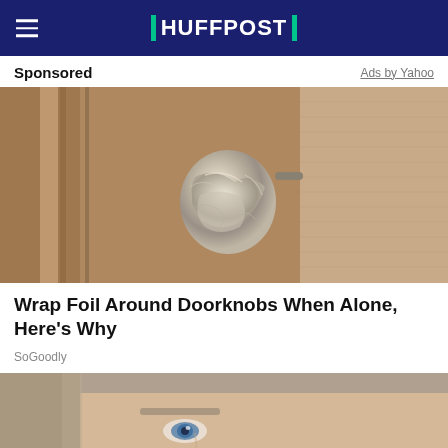HUFFPOST
Sponsored
Ads by Yahoo
[Figure (photo): Close-up photo of a door knob wrapped in crumpled aluminum foil, on a wooden door with panels]
Wrap Foil Around Doorknobs When Alone, Here's Why
SoGoodly
[Figure (photo): Close-up photo of a young man's face from the side, showing ear and blue eyes, against a light background]